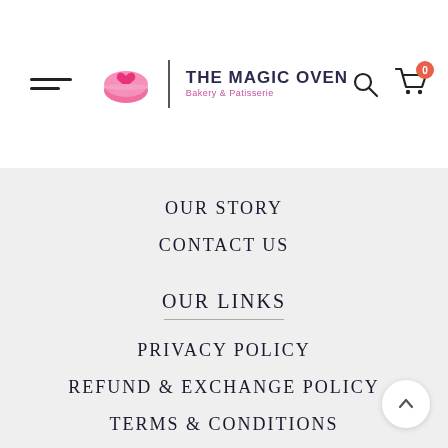[Figure (logo): The Magic Oven - Bakery & Patisserie logo with pink macaron icon, vertical divider, and text]
OUR STORY
CONTACT US
OUR LINKS
PRIVACY POLICY
REFUND & EXCHANGE POLICY
TERMS & CONDITIONS